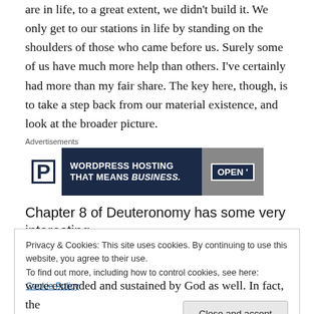are in life, to a great extent, we didn't build it. We only get to our stations in life by standing on the shoulders of those who came before us. Surely some of us have much more help than others. I've certainly had more than my fair share. The key here, though, is to take a step back from our material existence, and look at the broader picture.
[Figure (other): Advertisements banner for WordPress Hosting with text 'WORDPRESS HOSTING THAT MEANS BUSINESS.' on dark navy background with an OPEN sign image on the right]
Chapter 8 of Deuteronomy has some very interesting
Privacy & Cookies: This site uses cookies. By continuing to use this website, you agree to their use.
To find out more, including how to control cookies, see here: Cookie Policy
[Close and accept button]
were extended and sustained by God as well. In fact, the